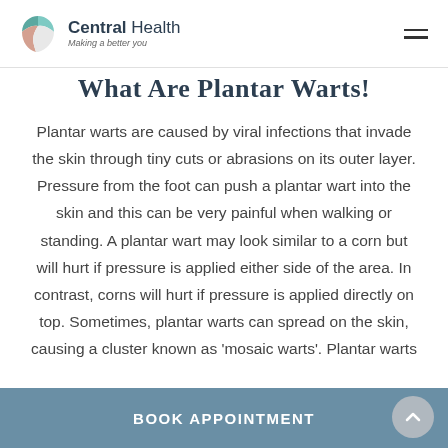Central Health – Making a better you
What Are Plantar Warts!
Plantar warts are caused by viral infections that invade the skin through tiny cuts or abrasions on its outer layer. Pressure from the foot can push a plantar wart into the skin and this can be very painful when walking or standing. A plantar wart may look similar to a corn but will hurt if pressure is applied either side of the area. In contrast, corns will hurt if pressure is applied directly on top. Sometimes, plantar warts can spread on the skin, causing a cluster known as 'mosaic warts'. Plantar warts
BOOK APPOINTMENT